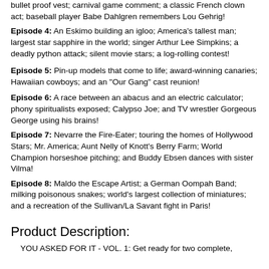bullet proof vest; carnival game comment; a classic French clown act; baseball player Babe Dahlgren remembers Lou Gehrig!
Episode 4: An Eskimo building an igloo; America's tallest man; largest star sapphire in the world; singer Arthur Lee Simpkins; a deadly python attack; silent movie stars; a log-rolling contest!
Episode 5: Pin-up models that come to life; award-winning canaries; Hawaiian cowboys; and an "Our Gang" cast reunion!
Episode 6: A race between an abacus and an electric calculator; phony spiritualists exposed; Calypso Joe; and TV wrestler Gorgeous George using his brains!
Episode 7: Nevarre the Fire-Eater; touring the homes of Hollywood Stars; Mr. America; Aunt Nelly of Knott's Berry Farm; World Champion horseshoe pitching; and Buddy Ebsen dances with sister Vilma!
Episode 8: Maldo the Escape Artist; a German Oompah Band; milking poisonous snakes; world's largest collection of miniatures; and a recreation of the Sullivan/La Savant fight in Paris!
Product Description:
YOU ASKED FOR IT - VOL. 1: Get ready for two complete,